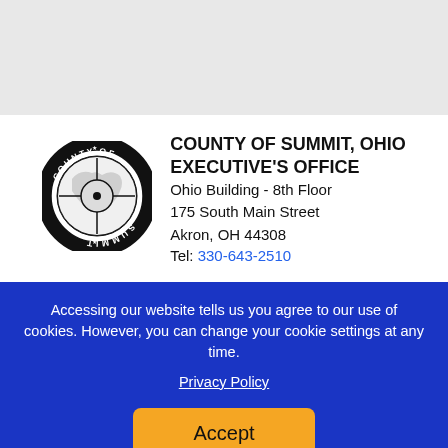[Figure (logo): County of Summit, Ohio official circular seal/logo in black and white]
COUNTY OF SUMMIT, OHIO
EXECUTIVE'S OFFICE
Ohio Building - 8th Floor
175 South Main Street
Akron, OH 44308
Tel: 330-643-2510
Accessing our website tells us you agree to our use of cookies. However, you can change your cookie settings at any time.
Privacy Policy
Accept